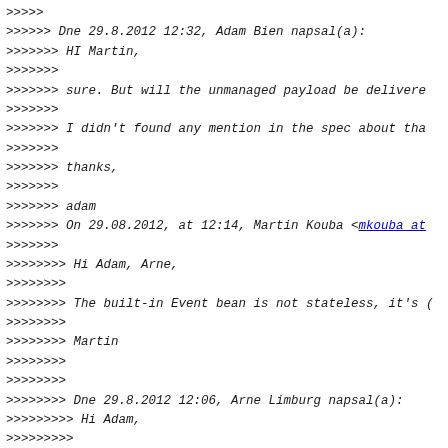>>>>>
>>>>>> Dne 29.8.2012 12:32, Adam Bien napsal(a):
>>>>>>> HI Martin,
>>>>>>>
>>>>>>> sure. But will the unmanaged payload be delivere
>>>>>>>
>>>>>>> I didn't found any mention in the spec about tha
>>>>>>>
>>>>>>> thanks,
>>>>>>>
>>>>>>> adam
>>>>>>> On 29.08.2012, at 12:14, Martin Kouba <mkouba at
>>>>>>>
>>>>>>>> Hi Adam, Arne,
>>>>>>>>
>>>>>>>> The built-in Event bean is not stateless, it's (
>>>>>>>>
>>>>>>>> Martin
>>>>>>>>
>>>>>>>>
>>>>>>>> Dne 29.8.2012 12:06, Arne Limburg napsal(a):
>>>>>>>>> Hi Adam,
>>>>>>>>>
>>>>>>>>>
>>>>>>>>> Are you talking about the injected Event objec
>>>>>>>>> The Event object is stateless so the scope does
>>>>>>>>> And the payload is not managed at all.
>>>>>>>>> So, I'm afraid, I can't see your issue here?
>>>>>>>>> Could you provide a use case for a scoped event
>>>>>>>>>